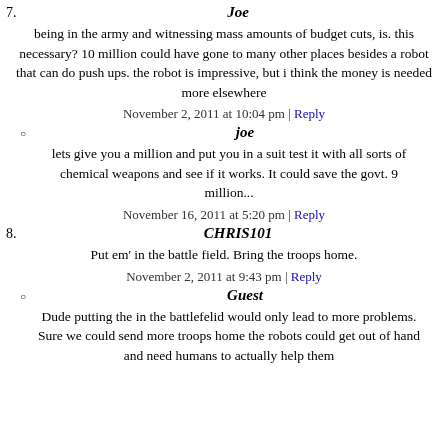7. Joe
being in the army and witnessing mass amounts of budget cuts, is. this necessary? 10 million could have gone to many other places besides a robot that can do push ups. the robot is impressive, but i think the money is needed more elsewhere
November 2, 2011 at 10:04 pm | Reply
joe
lets give you a million and put you in a suit test it with all sorts of chemical weapons and see if it works. It could save the govt. 9 million...
November 16, 2011 at 5:20 pm | Reply
8. CHRIS101
Put em' in the battle field. Bring the troops home.
November 2, 2011 at 9:43 pm | Reply
Guest
Dude putting the in the battlefelid would only lead to more problems. Sure we could send more troops home the robots could get out of hand and need humans to actually help them